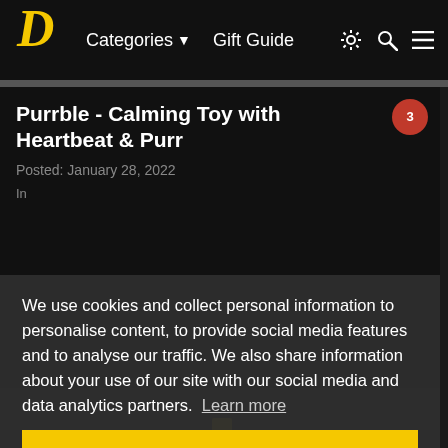Categories ▼  Gift Guide
Purrble - Calming Toy with Heartbeat & Purr
Posted: January 28, 2022
We use cookies and collect personal information to personalise content, to provide social media features and to analyse our traffic. We also share information about your use of our site with our social media and data analytics partners. Learn more
Got it!
[Figure (photo): Dark plush toy resembling a cat/creature, photographed against a white/gray background, partially visible at bottom of page]